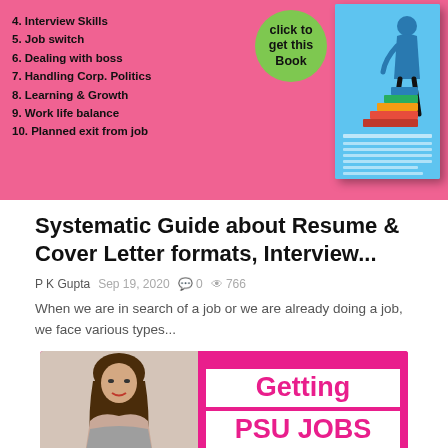[Figure (illustration): Pink background infographic showing a numbered list of career topics (4. Interview Skills, 5. Job switch, 6. Dealing with boss, 7. Handling Corp. Politics, 8. Learning & Growth, 9. Work life balance, 10. Planned exit from job), a green circular badge saying 'click to get this Book', and a blue book cover with a person climbing stairs.]
Systematic Guide about Resume & Cover Letter formats, Interview...
P K Gupta  Sep 19, 2020  0  766
When we are in search of a job or we are already doing a job, we face various types...
[Figure (illustration): Pink background image with a woman photo on the left and text 'Getting PSU JOBS' on the right in pink on white background.]